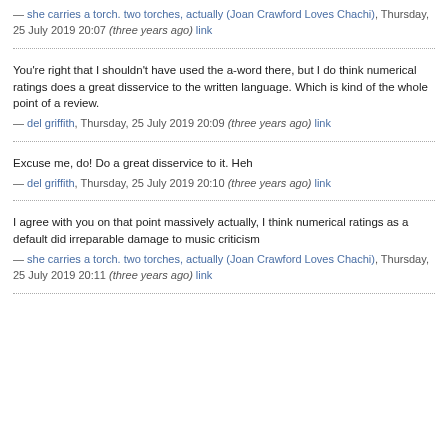— she carries a torch. two torches, actually (Joan Crawford Loves Chachi), Thursday, 25 July 2019 20:07 (three years ago) link
You're right that I shouldn't have used the a-word there, but I do think numerical ratings does a great disservice to the written language. Which is kind of the whole point of a review.
— del griffith, Thursday, 25 July 2019 20:09 (three years ago) link
Excuse me, do! Do a great disservice to it. Heh
— del griffith, Thursday, 25 July 2019 20:10 (three years ago) link
I agree with you on that point massively actually, I think numerical ratings as a default did irreparable damage to music criticism
— she carries a torch. two torches, actually (Joan Crawford Loves Chachi), Thursday, 25 July 2019 20:11 (three years ago) link